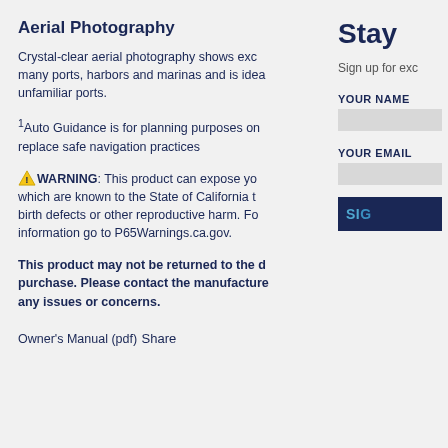Aerial Photography
Crystal-clear aerial photography shows exc many ports, harbors and marinas and is idea unfamiliar ports.
¹Auto Guidance is for planning purposes on replace safe navigation practices
⚠ WARNING: This product can expose yo which are known to the State of California t birth defects or other reproductive harm. Fo information go to P65Warnings.ca.gov.
This product may not be returned to the d purchase. Please contact the manufacture any issues or concerns.
Owner's Manual (pdf)
Share
Stay
Sign up for exc
YOUR NAME
YOUR EMAIL
SI